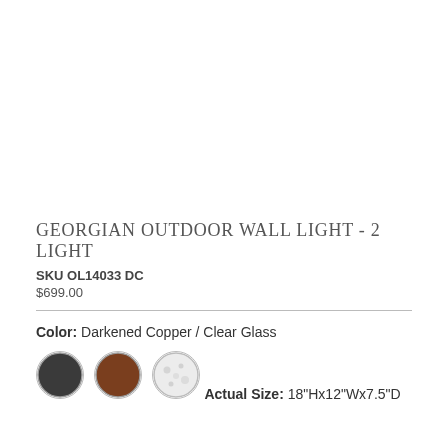[Figure (photo): Product image area - white/blank space where product photo would appear]
GEORGIAN OUTDOOR WALL LIGHT - 2 LIGHT
SKU OL14033 DC
$699.00
Color: Darkened Copper / Clear Glass
[Figure (illustration): Three color swatches: dark gray/black, brown/copper, white/speckled]
Actual Size: 18"Hx12"Wx7.5"D